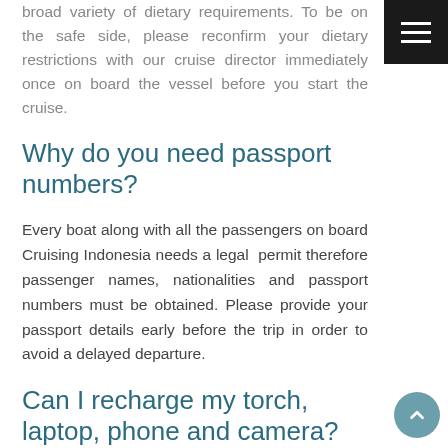broad variety of dietary requirements. To be on the safe side, please reconfirm your dietary restrictions with our cruise director immediately once on board the vessel before you start the cruise.
Why do you need passport numbers?
Every boat along with all the passengers on board Cruising Indonesia needs a legal permit therefore passenger names, nationalities and passport numbers must be obtained. Please provide your passport details early before the trip in order to avoid a delayed departure.
Can I recharge my torch, laptop, phone and camera?